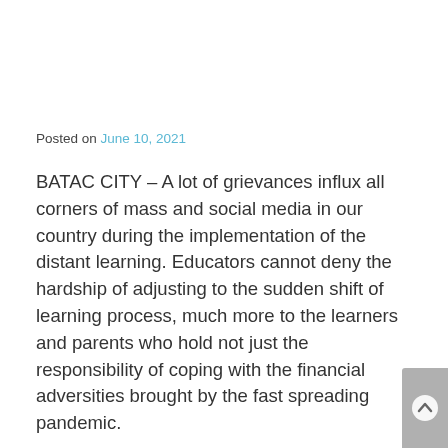Posted on June 10, 2021
BATAC CITY – A lot of grievances influx all corners of mass and social media in our country during the implementation of the distant learning. Educators cannot deny the hardship of adjusting to the sudden shift of learning process, much more to the learners and parents who hold not just the responsibility of coping with the financial adversities brought by the fast spreading pandemic.
The sentiments were crippling to the sense of hearing. The main problem goes down to one culprit: weak or no internet connection at all. The difficulty of accomplishing a